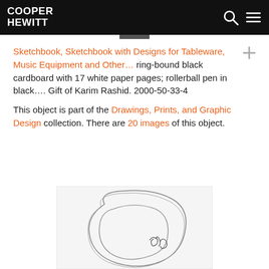COOPER HEWITT
Sketchbook, Sketchbook with Designs for Tableware, Music Equipment and Other… ring-bound black cardboard with 17 white paper pages; rollerball pen in black…. Gift of Karim Rashid. 2000-50-33-4
This object is part of the Drawings, Prints, and Graphic Design collection. There are 20 images of this object.
[Figure (illustration): Pencil sketch illustration of a soft rounded rectangular object with organic flowing lines, partially showing cursive text]